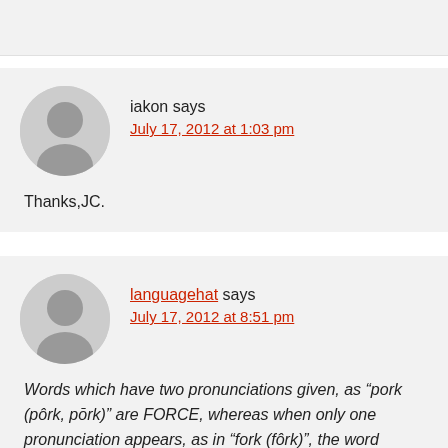iakon says
July 17, 2012 at 1:03 pm
Thanks,JC.
languagehat says
July 17, 2012 at 8:51 pm
Words which have two pronunciations given, as “pork (pôrk, pōrk)” are FORCE, whereas when only one pronunciation appears, as in “fork (fôrk)”, the word belongs to NORTH. Hat: Is this still true in AHD5? AHDE has...“(fôrk)”...